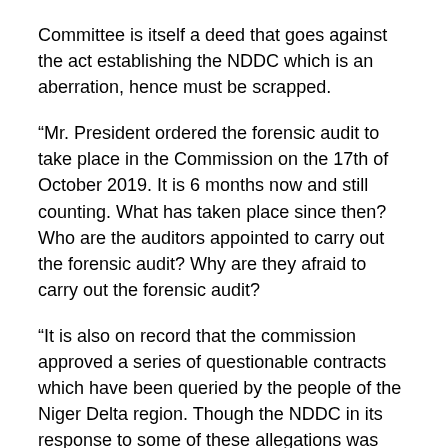Committee is itself a deed that goes against the act establishing the NDDC which is an aberration, hence must be scrapped.
“Mr. President ordered the forensic audit to take place in the Commission on the 17th of October 2019. It is 6 months now and still counting. What has taken place since then? Who are the auditors appointed to carry out the forensic audit? Why are they afraid to carry out the forensic audit?
“It is also on record that the commission approved a series of questionable contracts which have been queried by the people of the Niger Delta region. Though the NDDC in its response to some of these allegations was silent on the award of emergency contracts among others, the IAAF is asking questions based on this deafening silence amidst other activities of the commission.”